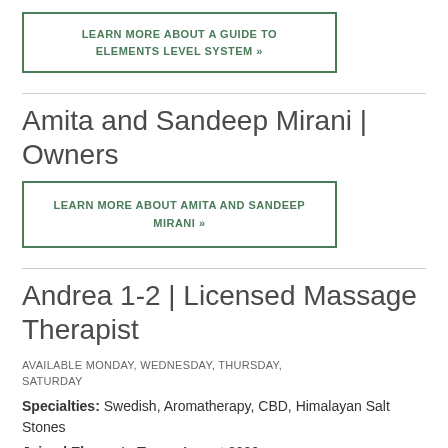LEARN MORE ABOUT A GUIDE TO ELEMENTS LEVEL SYSTEM »
Amita and Sandeep Mirani | Owners
LEARN MORE ABOUT AMITA AND SANDEEP MIRANI »
Andrea 1-2 | Licensed Massage Therapist
AVAILABLE MONDAY, WEDNESDAY, THURSDAY, SATURDAY
Specialties: Swedish, Aromatherapy, CBD, Himalayan Salt Stones
Joined Elements Team: August 2020
Testimonials
“No one has been able to make my headaches go away